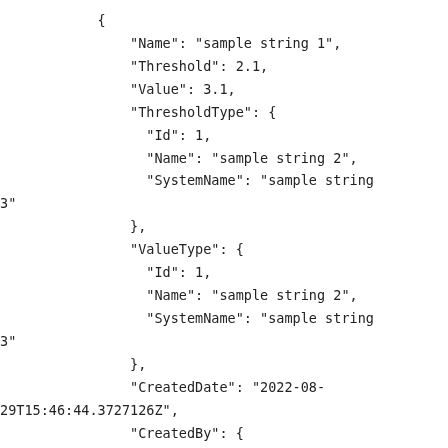{
    "Name": "sample string 1",
    "Threshold": 2.1,
    "Value": 3.1,
    "ThresholdType": {
        "Id": 1,
        "Name": "sample string 2",
        "SystemName": "sample string 3"
    },
    "ValueType": {
        "Id": 1,
        "Name": "sample string 2",
        "SystemName": "sample string 3"
    },
    "CreatedDate": "2022-08-29T15:46:44.3727126Z",
    "CreatedBy": {
        "Initials": "sample string 1",
        "ContactName": "sample string 2",
        "Gender": {